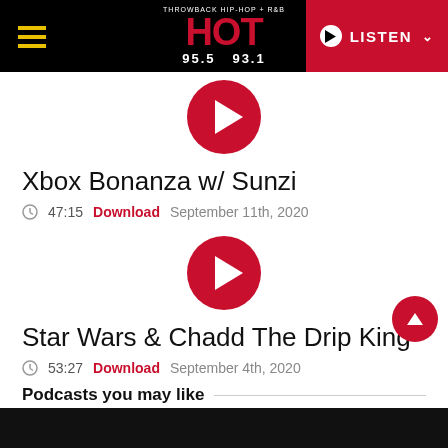HOT 95.5 93.1 — LISTEN
[Figure (other): Red circular play button for Xbox Bonanza w/ Sunzi podcast]
Xbox Bonanza w/ Sunzi
47:15  Download  September 11th, 2020
[Figure (other): Red circular play button for Star Wars & Chadd The Drip King podcast]
Star Wars & Chadd The Drip King
53:27  Download  September 4th, 2020
Podcasts you may like